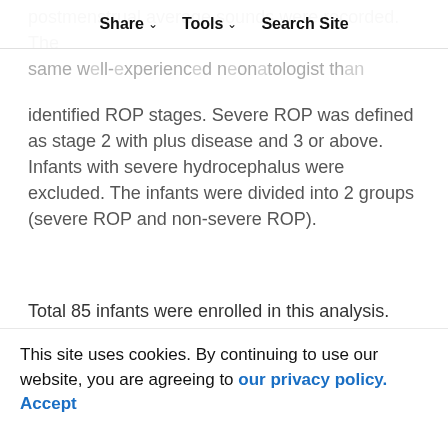Share | Tools | Search Site
postmenstrual average sounds were recorded. The same well-experienced neonatologist than identified ROP stages. Severe ROP was defined as stage 2 with plus disease and 3 or above. Infants with severe hydrocephalus were excluded. The infants were divided into 2 groups (severe ROP and non-severe ROP).
Total 85 infants were enrolled in this analysis. Fifteen infants (17.6%) had severe ROP in this period. The average GA and BW of the 85 infants were 26.3 ◆} 2.2 wks and 798 ◆} 126 g. The median (interquartile ranges, IQR) of GA and BW of the severe ROP group and non-severe ROP
This site uses cookies. By continuing to use our website, you are agreeing to our privacy policy. Accept
(p=0.001), respectively. Stage 1000.0 mg (p=0.633), respectively. The cut-off value of GA